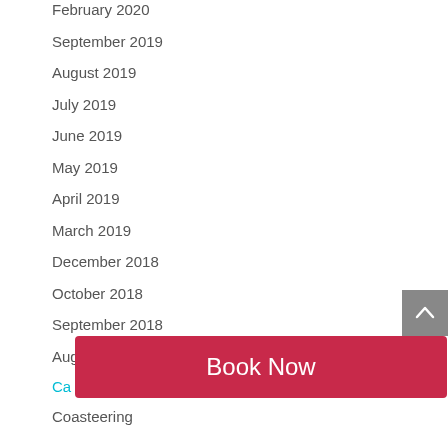February 2020
September 2019
August 2019
July 2019
June 2019
May 2019
April 2019
March 2019
December 2018
October 2018
September 2018
August 2018
Ca
Coasteering
[Figure (other): Scroll to top button - grey square with white chevron/caret pointing up]
[Figure (other): Book Now button - red/crimson rounded rectangle with white text 'Book Now']